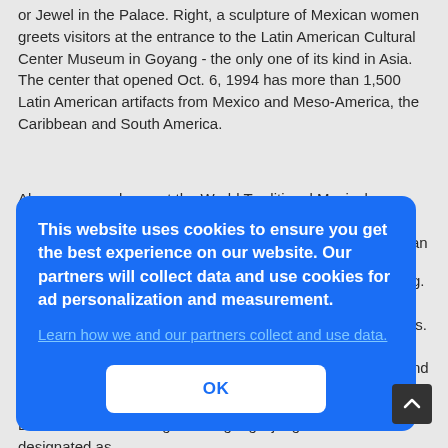or Jewel in the Palace. Right, a sculpture of Mexican women greets visitors at the entrance to the Latin American Cultural Center Museum in Goyang - the only one of its kind in Asia. The center that opened Oct. 6, 1994 has more than 1,500 Latin American artifacts from Mexico and Meso-America, the Caribbean and South America.
Above, an employee at the World Traditional Musical Instrument Museum in Paju demonstrates the klongput from the central highlands of Vietnam. The museum has more than 2,000 instruments from more than
[Figure (screenshot): Cookie consent overlay popup with blue background containing text 'This website uses cookies to ensure you get the best experience on our website. Our partners will collect data and use cookies for ad personalization and measurement.' with a 'Learn how we and our partners collect and use data.' hyperlink and an OK button. Partially visible background text from article is visible on the right side.]
Bow and arrow making called "gangsi jang" has been designated as